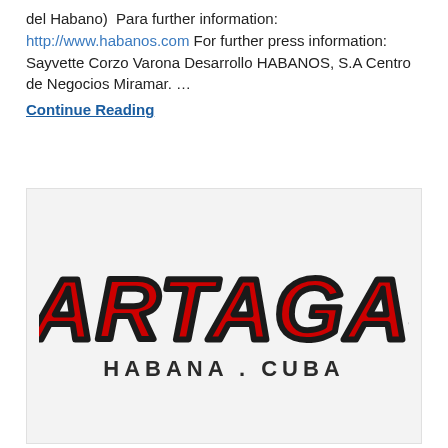del Habano)  Para further information: http://www.habanos.com For further press information: Sayvette Corzo Varona Desarrollo HABANOS, S.A Centro de Negocios Miramar. …
Continue Reading
[Figure (logo): Partagas Habana Cuba logo — large red bold serif text 'PARTAGAS' with black outline, and below it 'HABANA . CUBA' in dark spaced caps, on a light grey background.]